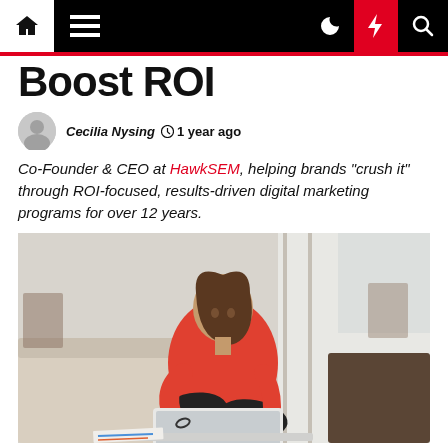Navigation bar with home, menu, moon, bolt, search icons
Boost ROI
Cecilia Nysing  1 year ago
Co-Founder & CEO at HawkSEM, helping brands "crush it" through ROI-focused, results-driven digital marketing programs for over 12 years.
[Figure (photo): Woman in red blouse sitting cross-legged on a couch working on a laptop, with papers and marketing materials on the table in front of her]